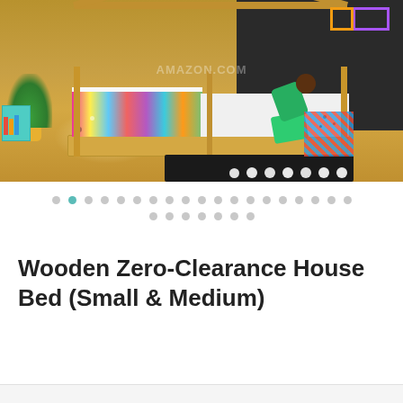[Figure (photo): A child in green pajamas climbing on a wooden house-frame floor bed with colorful polka-dot and patterned bedding. The room has a dark chalkboard-painted wall, a plant in a yellow pot, colorful storage cubes, and a black and white polka-dot rug on wooden flooring. Watermark text partially visible.]
[Figure (other): Image carousel navigation dots: two rows of circular dots indicating image gallery position. First row has 19 dots (second dot highlighted in teal), second row has 7 dots in grey.]
Wooden Zero-Clearance House Bed (Small & Medium)